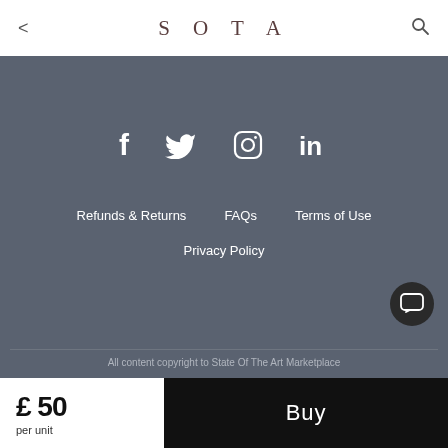< SOTA 🔍
[Figure (other): Footer section with social media icons (Facebook, Twitter, Instagram, LinkedIn), navigation links (Refunds & Returns, FAQs, Terms of Use, Privacy Policy), copyright text, and a chat button. Dark grey background.]
All content copyright to State Of The Art Marketplace
£ 50 per unit
Buy